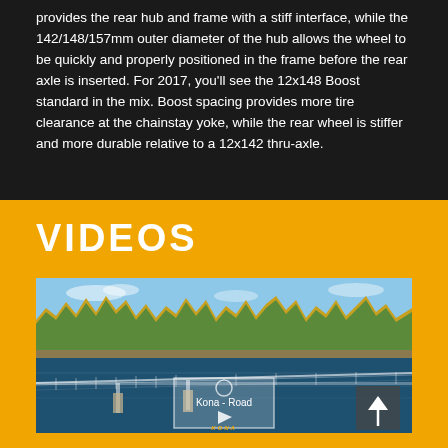provides the rear hub and frame with a stiff interface, while the 142/148/157mm outer diameter of the hub allows the wheel to be quickly and properly positioned in the frame before the rear axle is inserted. For 2017, you'll see the 12x148 Boost standard in the mix. Boost spacing provides more tire clearance at the chainstay yoke, while the rear wheel is stiffer and more durable relative to a 12x142 thru-axle.
VIDEOS
[Figure (photo): Video thumbnail showing a lake scene with bridge, trees in autumn colors, and a Kona - Road video play button overlay]